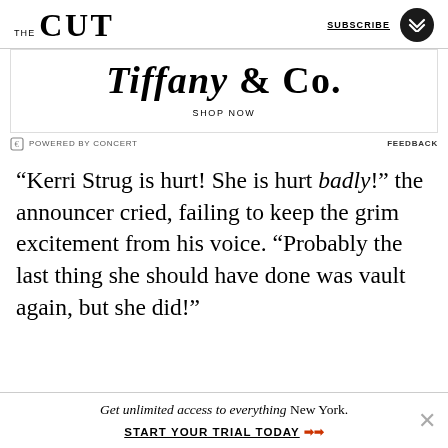THE CUT | SUBSCRIBE
[Figure (logo): Tiffany & Co. advertisement with 'SHOP NOW' link]
POWERED BY CONCERT   FEEDBACK
“Kerri Strug is hurt! She is hurt badly!” the announcer cried, failing to keep the grim excitement from his voice. “Probably the last thing she should have done was vault again, but she did!”
Get unlimited access to everything New York. START YOUR TRIAL TODAY ➡➡